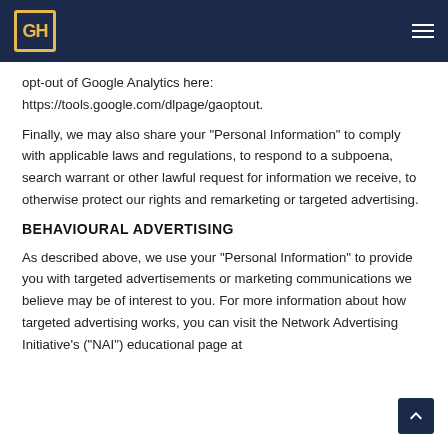GH logo and navigation menu
opt-out of Google Analytics here: https://tools.google.com/dlpage/gaoptout.
Finally, we may also share your “Personal Information” to comply with applicable laws and regulations, to respond to a subpoena, search warrant or other lawful request for information we receive, to otherwise protect our rights and remarketing or targeted advertising.
BEHAVIOURAL ADVERTISING
As described above, we use your “Personal Information” to provide you with targeted advertisements or marketing communications we believe may be of interest to you. For more information about how targeted advertising works, you can visit the Network Advertising Initiative’s (“NAI”) educational page at